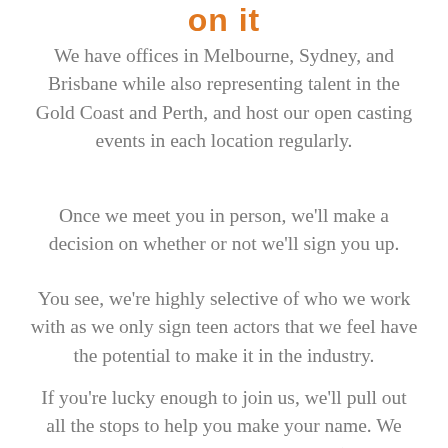on it
We have offices in Melbourne, Sydney, and Brisbane while also representing talent in the Gold Coast and Perth, and host our open casting events in each location regularly.
Once we meet you in person, we'll make a decision on whether or not we'll sign you up.
You see, we're highly selective of who we work with as we only sign teen actors that we feel have the potential to make it in the industry.
If you're lucky enough to join us, we'll pull out all the stops to help you make your name. We can't make any guarantees about work (you have to nail the audition for that), but we can